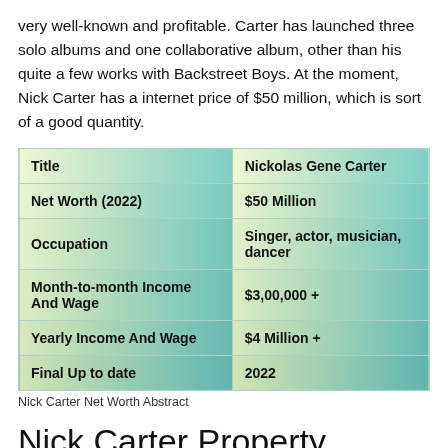very well-known and profitable. Carter has launched three solo albums and one collaborative album, other than his quite a few works with Backstreet Boys. At the moment, Nick Carter has a internet price of $50 million, which is sort of a good quantity.
| Title | Nickolas Gene Carter |
| --- | --- |
| Net Worth (2022) | $50 Million |
| Occupation | Singer, actor, musician, dancer |
| Month-to-month Income And Wage | $3,00,000 + |
| Yearly Income And Wage | $4 Million + |
| Final Up to date | 2022 |
Nick Carter Net Worth Abstract
Nick Carter Property